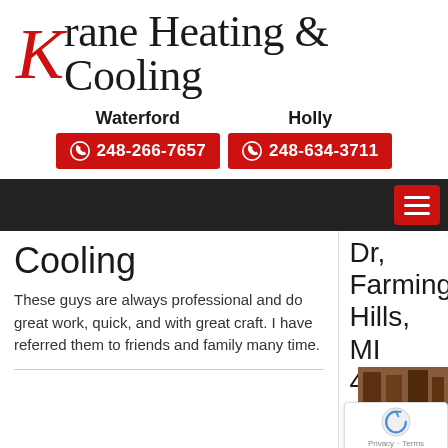[Figure (logo): Krane Heating & Cooling logo with decorative red serif K and black text]
Waterford
Holly
248-266-7657
248-634-3711
Cooling
These guys are always professional and do great work, quick, and with great craft. I have referred them to friends and family many time.
Dr, Farmington Hills, MI 48334